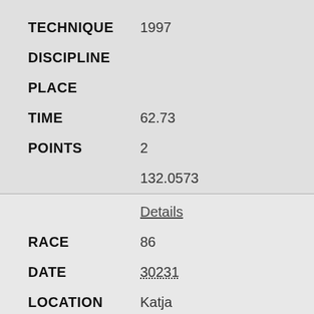TECHNIQUE    1997
DISCIPLINE
PLACE
TIME    62.73
POINTS    2
132.0573
Details
RACE    86
DATE    30231
LOCATION    Katja